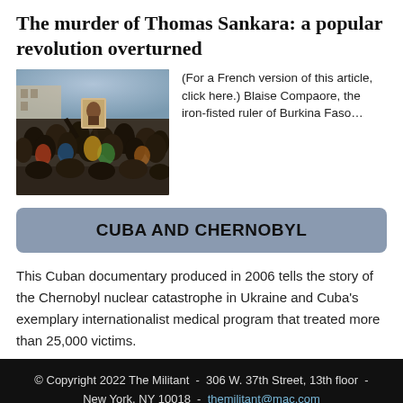The murder of Thomas Sankara: a popular revolution overturned
[Figure (photo): Crowd of people at a rally holding up a portrait of Thomas Sankara]
(For a French version of this article, click here.) Blaise Compaore, the iron-fisted ruler of Burkina Faso...
CUBA AND CHERNOBYL
This Cuban documentary produced in 2006 tells the story of the Chernobyl nuclear catastrophe in Ukraine and Cuba's exemplary internationalist medical program that treated more than 25,000 victims.
© Copyright 2022 The Militant  -  306 W. 37th Street, 13th floor  -  New York, NY 10018  -  themilitant@mac.com